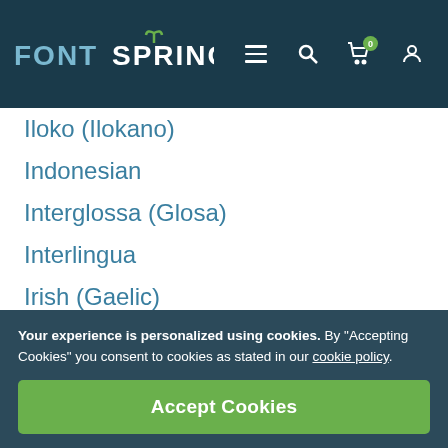FONTSPRING [nav: menu, search, cart (0), account]
Iloko (Ilokano)
Indonesian
Interglossa (Glosa)
Interlingua
Irish (Gaelic)
Istro-Romanian
Italian
Jèrriais
Kashubian
Kurdish (Kurmanji)
Ladin
Latvian
Your experience is personalized using cookies. By "Accepting Cookies" you consent to cookies as stated in our cookie policy.
Accept Cookies